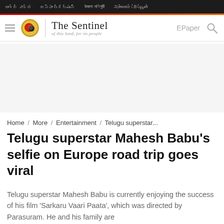The Sentinel - of this land, for its people
Home / More / Entertainment / Telugu superstar...
Telugu superstar Mahesh Babu's selfie on Europe road trip goes viral
Telugu superstar Mahesh Babu is currently enjoying the success of his film 'Sarkaru Vaari Paata', which was directed by Parasuram. He and his family are